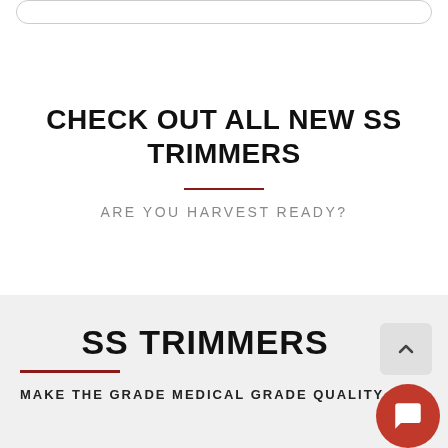CHECK OUT ALL NEW SS TRIMMERS
ARE YOU HARVEST READY?
SS TRIMMERS
MAKE THE GRADE MEDICAL GRADE QUALITY